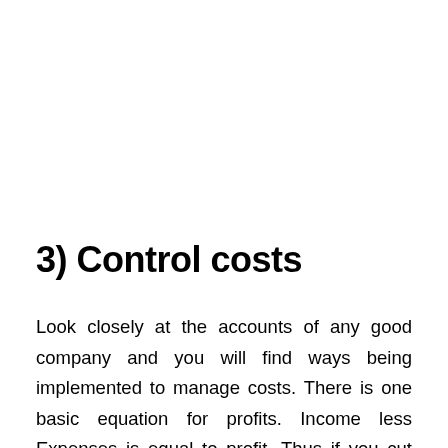3) Control costs
Look closely at the accounts of any good company and you will find ways being implemented to manage costs. There is one basic equation for profits. Income less Expenses is equal to profit. Thus if you cut down your costs, your expenses automatically come down thereby increasing the overall profit. The important thing here is to know what are the major components in your costing. For example in a product based company,